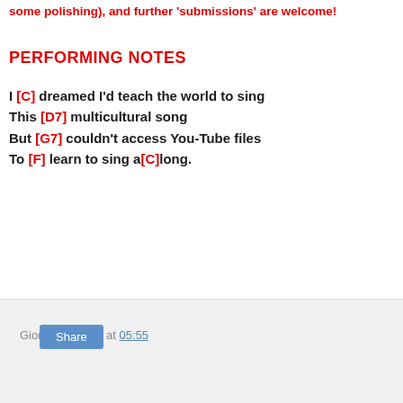some polishing), and further 'submissions' are welcome!
PERFORMING NOTES
I [C] dreamed I'd teach the world to sing
This [D7] multicultural song
But [G7] couldn't access You-Tube files
To [F] learn to sing a[C]long.
Giorgio Coniglio at 05:55
Share